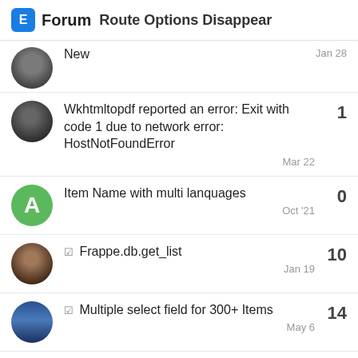Forum  Route Options Disappear
Wkhtmltopdf reported an error: Exit with code 1 due to network error: HostNotFoundError
Item Name with multi lanquages
Frappe.db.get_list
Multiple select field for 300+ Items